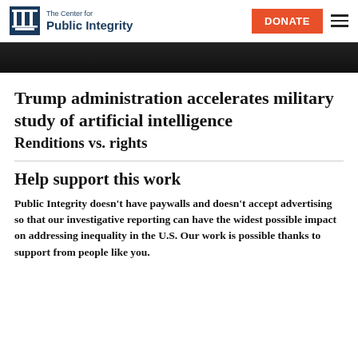The Center for Public Integrity | DONATE
[Figure (photo): Dark hero image, partially visible at top of content area]
Trump administration accelerates military study of artificial intelligence
Renditions vs. rights
Help support this work
Public Integrity doesn't have paywalls and doesn't accept advertising so that our investigative reporting can have the widest possible impact on addressing inequality in the U.S. Our work is possible thanks to support from people like you.